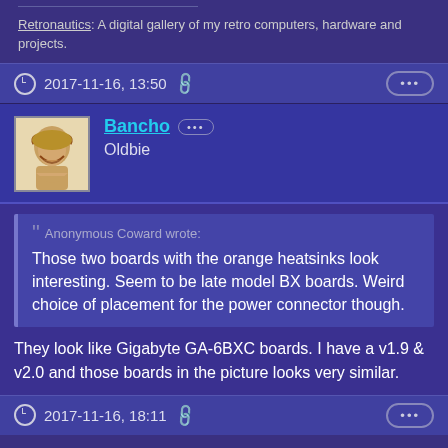Retronautics: A digital gallery of my retro computers, hardware and projects.
2017-11-16, 13:50
Bancho
Oldbie
Anonymous Coward wrote: Those two boards with the orange heatsinks look interesting. Seem to be late model BX boards. Weird choice of placement for the power connector though.
They look like Gigabyte GA-6BXC boards. I have a v1.9 & v2.0 and those boards in the picture looks very similar.
2017-11-16, 18:11